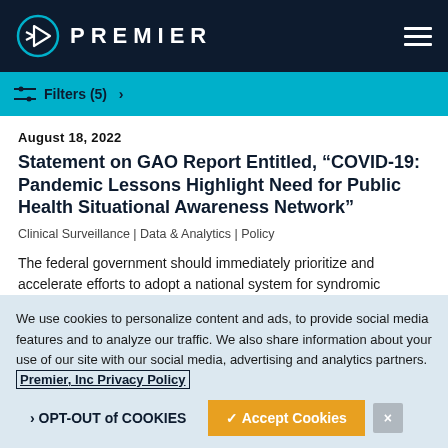PREMIER
Filters (5) >
August 18, 2022
Statement on GAO Report Entitled, “COVID-19: Pandemic Lessons Highlight Need for Public Health Situational Awareness Network”
Clinical Surveillance | Data & Analytics | Policy
The federal government should immediately prioritize and accelerate efforts to adopt a national system for syndromic surveillance.
We use cookies to personalize content and ads, to provide social media features and to analyze our traffic. We also share information about your use of our site with our social media, advertising and analytics partners. Premier, Inc Privacy Policy
> OPT-OUT of COOKIES   ✓ Accept Cookies   ×